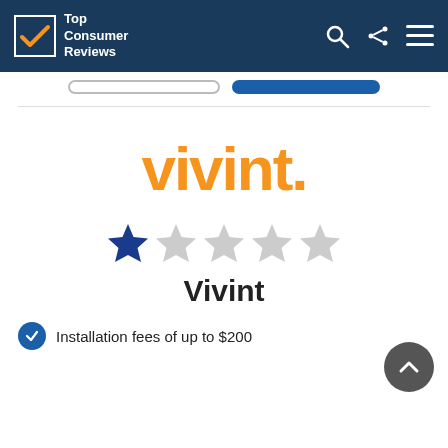Top Consumer Reviews
[Figure (logo): Vivint orange logo text with period]
[Figure (other): 1 out of 5 stars rating — one filled blue star, four empty gray stars]
Vivint
Installation fees of up to $200